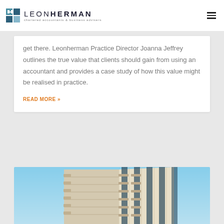LEON HERMAN chartered accountants & business advisers
get there. Leonherman Practice Director Joanna Jeffrey outlines the true value that clients should gain from using an accountant and provides a case study of how this value might be realised in practice.
READ MORE »
[Figure (photo): Upward-angle photograph of a modern multi-storey building with balconies and glass facade against a clear blue sky]